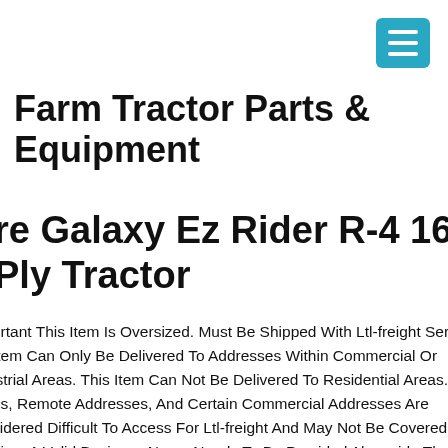[Figure (other): Teal/cyan hamburger menu button icon in top right corner]
Farm Tractor Parts & Equipment
re Galaxy Ez Rider R-4 16.9-28 Loa Ply Tractor
ortant This Item Is Oversized. Must Be Shipped With Ltl-freight Serv Item Can Only Be Delivered To Addresses Within Commercial Or istrial Areas. This Item Can Not Be Delivered To Residential Areas. ns, Remote Addresses, And Certain Commercial Addresses Are sidered Difficult To Access For Ltl-freight And May Not Be Covered F ping. A Valid Business Name Needs To Be Provided Alongside The l Commercial Address. Orders Requiring Ltl-freight Shipping Will B ped Out Within 3 Business Days After A Valid Address Has Been ided And Verified. Ltl-freight Delivery Personnel Are Not Available F tional Requests During Delivery. Any Changes After An Order Has B